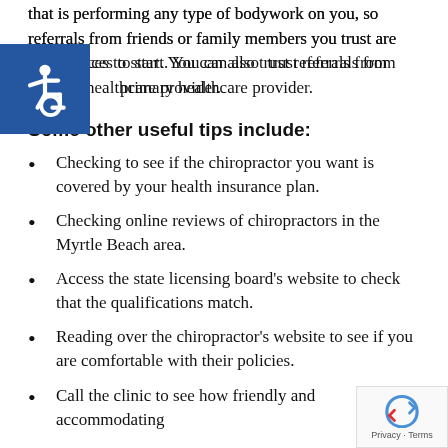that is performing any type of bodywork on you, so referrals from friends or family members you trust are good places to start. You can also trust referrals from your primary healthcare provider.
[Figure (illustration): Blue square accessibility icon with wheelchair user symbol in white]
Some other useful tips include:
Checking to see if the chiropractor you want is covered by your health insurance plan.
Checking online reviews of chiropractors in the Myrtle Beach area.
Access the state licensing board's website to check that the qualifications match.
Reading over the chiropractor's website to see if you are comfortable with their policies.
Call the clinic to see how friendly and accommodating